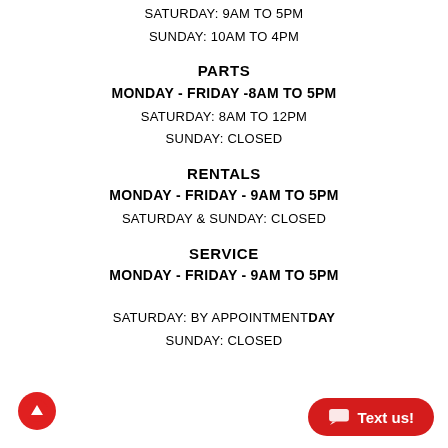SATURDAY: 9AM TO 5PM
SUNDAY:  10AM TO 4PM
PARTS
MONDAY - FRIDAY -8AM TO 5PM
SATURDAY: 8AM TO 12PM
SUNDAY: CLOSED
RENTALS
MONDAY - FRIDAY - 9AM TO 5PM
SATURDAY & SUNDAY: CLOSED
SERVICE
MONDAY - FRIDAY - 9AM TO 5PM
SATURDAY: BY APPOINTMENTDAY
SUNDAY: CLOSED